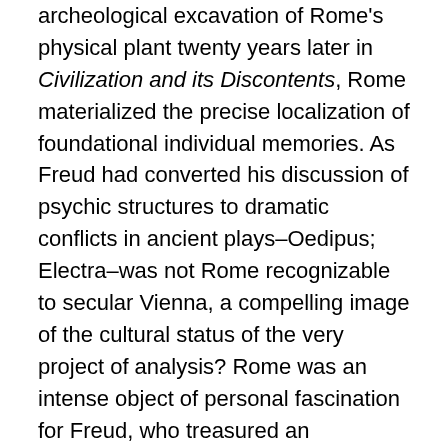archeological excavation of Rome's physical plant twenty years later in Civilization and its Discontents, Rome materialized the precise localization of foundational individual memories. As Freud had converted his discussion of psychic structures to dramatic conflicts in ancient plays–Oedipus; Electra–was not Rome recognizable to secular Vienna, a compelling image of the cultural status of the very project of analysis? Rome was an intense object of personal fascination for Freud, who treasured an expansive collection of antiquities he often asked his patients to examine to prompt discussions. But he had mentioned Rome in such a detailed flight of fancy that were almost an erotics of contact with multiple layers of the past that could never be able to be clearly represented or delineated in a map, but which the stratigraphic images of spatially overlapping structures served to illustrate. The discussion of the pagan and